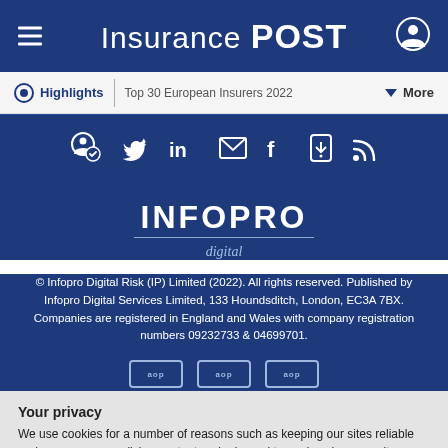Insurance POST
Highlights | Top 30 European Insurers 2022 | More
[Figure (other): Social media icons: follow, Twitter, LinkedIn, email, Facebook, download app, RSS feed]
[Figure (logo): INFOPRO digital logo]
© Infopro Digital Risk (IP) Limited (2022). All rights reserved. Published by Infopro Digital Services Limited, 133 Houndsditch, London, EC3A 7BX. Companies are registered in England and Wales with company registration numbers 09232733 & 04699701.
[Figure (other): Certification logos (partially visible)]
Your privacy
We use cookies for a number of reasons such as keeping our sites reliable and secure, personalising content and ads, and to analyse how our sites are used. To find out more please read our updated privacy policy.
ACCEPT AND CONTINUE